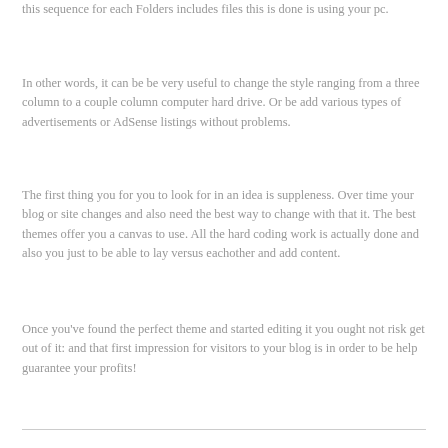this sequence for each Folders includes files this is done is using your pc.
In other words, it can be be very useful to change the style ranging from a three column to a couple column computer hard drive. Or be add various types of advertisements or AdSense listings without problems.
The first thing you for you to look for in an idea is suppleness. Over time your blog or site changes and also need the best way to change with that it. The best themes offer you a canvas to use. All the hard coding work is actually done and also you just to be able to lay versus eachother and add content.
Once you've found the perfect theme and started editing it you ought not risk get out of it: and that first impression for visitors to your blog is in order to be help guarantee your profits!